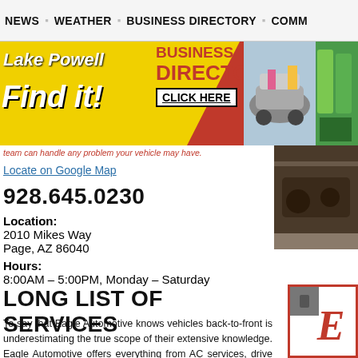NEWS  ▪  WEATHER  ▪  BUSINESS DIRECTORY  ▪  COMM...
[Figure (illustration): Lake Powell Business Directory banner ad with yellow and red background, 'Lake Powell Find it!' text, 'BUSINESS DIRECTORY CLICK HERE' text, car and outdoor gear photos]
team can handle any problem your vehicle may have.
Locate on Google Map
928.645.0230
Location:
2010 Mikes Way
Page, AZ 86040
Hours:
8:00AM – 5:00PM, Monday – Saturday
LONG LIST OF SERVICES
To say that Eagle Automotive knows vehicles back-to-front is underestimating the true scope of their extensive knowledge. Eagle Automotive offers everything from AC services, drive train services,
[Figure (photo): Dark image of vehicle/mechanical parts on right side]
[Figure (logo): Eagle Automotive logo with red border and italic E]